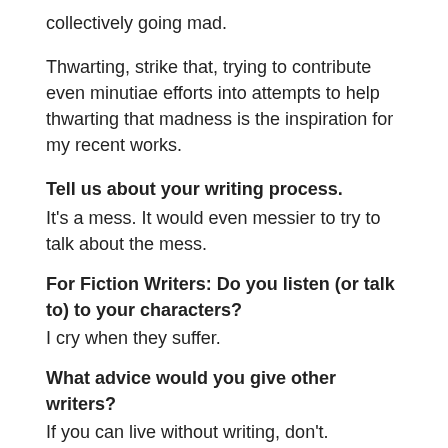collectively going mad.
Thwarting, strike that, trying to contribute even minutiae efforts into attempts to help thwarting that madness is the inspiration for my recent works.
Tell us about your writing process.
It's a mess. It would even messier to try to talk about the mess.
For Fiction Writers: Do you listen (or talk to) to your characters?
I cry when they suffer.
What advice would you give other writers?
If you can live without writing, don't.